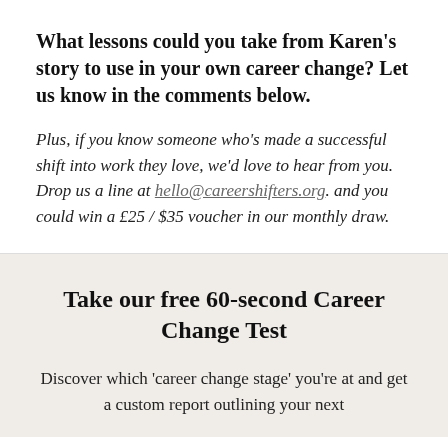What lessons could you take from Karen's story to use in your own career change? Let us know in the comments below.
Plus, if you know someone who's made a successful shift into work they love, we'd love to hear from you. Drop us a line at hello@careershifters.org. and you could win a £25 / $35 voucher in our monthly draw.
Take our free 60-second Career Change Test
Discover which 'career change stage' you're at and get a custom report outlining your next